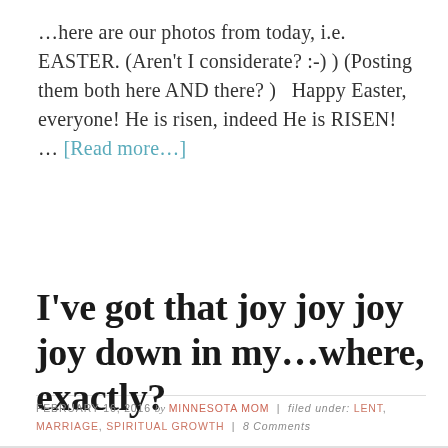…here are our photos from today, i.e. EASTER. (Aren't I considerate? :-) ) (Posting them both here AND there? )   Happy Easter, everyone! He is risen, indeed He is RISEN!      … [Read more…]
I've got that joy joy joy joy down in my…where, exactly?
FEBRUARY 16, 2016 by MINNESOTA MOM | filed under: LENT, MARRIAGE, SPIRITUAL GROWTH | 8 Comments